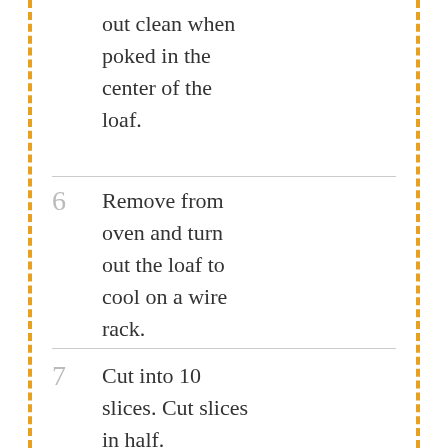out clean when poked in the center of the loaf.
6  Remove from oven and turn out the loaf to cool on a wire rack.
7  Cut into 10 slices. Cut slices in half.